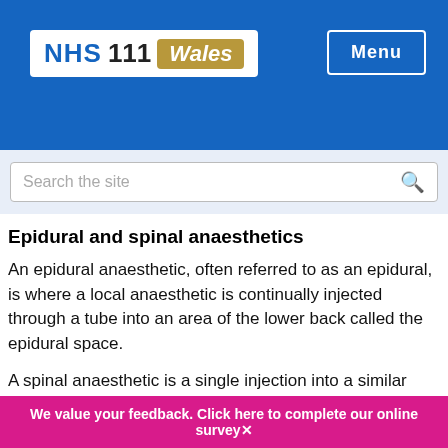NHS 111 Wales — Menu
Epidural and spinal anaesthetics
An epidural anaesthetic, often referred to as an epidural, is where a local anaesthetic is continually injected through a tube into an area of the lower back called the epidural space.
A spinal anaesthetic is a single injection into a similar space in the back.
Both types of anaesthetic can be used to numb large areas of the body by stopping pain signals travelling along the
We value your feedback. Click here to complete our online survey✕